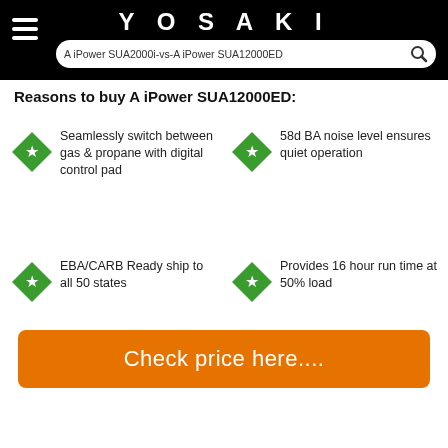YOSAKI
A iPower SUA2000i-vs-A iPower SUA12000ED
Reasons to buy A iPower SUA12000ED:
Seamlessly switch between gas & propane with digital control pad
58d BA noise level ensures quiet operation
EBA/CARB Ready ship to all 50 states
Provides 16 hour run time at 50% load
Check price here....